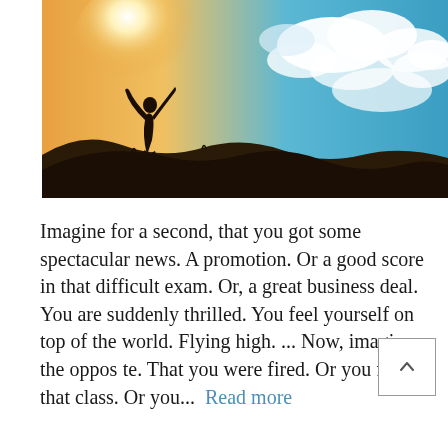[Figure (photo): A silhouette of a person kneeling with arms raised toward a bright sun, set against a dramatic blue sky with white clouds. The scene has a warm orange-brown glow near the sun and dark silhouetted hills in the foreground.]
Imagine for a second, that you got some spectacular news. A promotion. Or a good score in that difficult exam. Or, a great business deal. You are suddenly thrilled. You feel yourself on top of the world. Flying high. ... Now, imagine the opposite. That you were fired. Or you failed that class. Or you... Read more